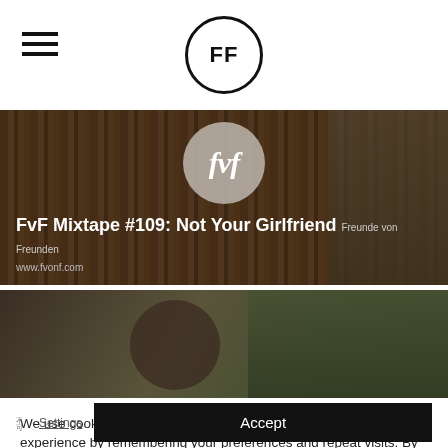FF (Freunde von Freunden logo)
[Figure (photo): FvF Mixtape cover image showing a library/bookshelf background with a circular FvF badge logo. Text overlay reads 'FvF Mixtape #109: Not Your Girlfriend' with subtitle 'Freunde von Freunden www.fvonf.com']
[Figure (photo): Partial photo of a person with greenery in the background]
We use cookies on our website to give you the most relevant experience by remembering your preferences and repeat visits. By clicking “Accept”, you consent to the use of ALL the cookies.
Settings | Accept